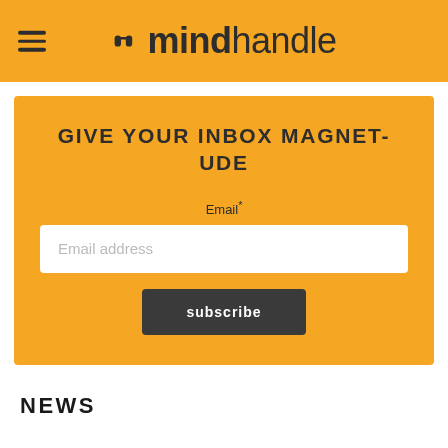mindhandle
GIVE YOUR INBOX MAGNET-UDE
Email*
Email address
subscribe
NEWS